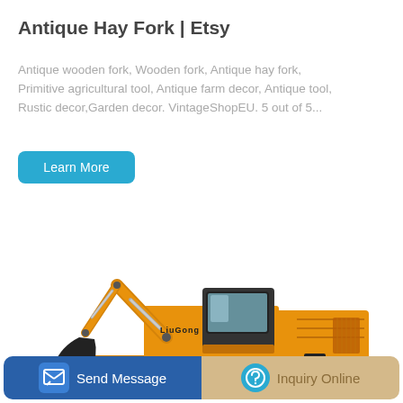Antique Hay Fork | Etsy
Antique wooden fork, Wooden fork, Antique hay fork, Primitive agricultural tool, Antique farm decor, Antique tool, Rustic decor,Garden decor. VintageShopEU. 5 out of 5...
Learn More
[Figure (photo): Yellow LiuGong excavator on white background, side view showing the arm, bucket, cab, and tracks.]
Send Message
Inquiry Online